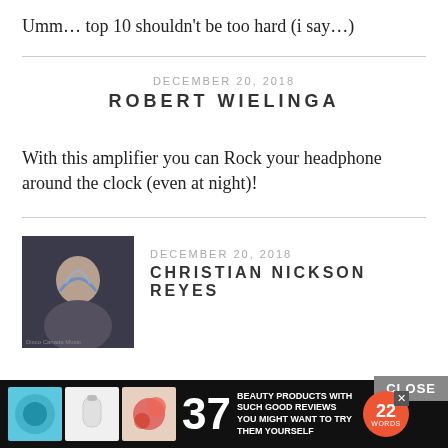Umm… top 10 shouldn't be too hard (i say…)
DECEMBER 20, 2018 — ROBERT WIELINGA
With this amplifier you can Rock your headphone around the clock (even at night)!
DECEMBER 20, 2018 — CHRISTIAN NICKSON REYES
Ten units!? That's really generous!
[Figure (photo): User avatar photo of Christian Nickson Reyes — appears to be a dark-haired person with stylized lightning bolt graphic overlay, small channel branding text at bottom]
[Figure (infographic): Advertisement banner at bottom: '37 Beauty Products With Such Good Reviews You Might Want To Try Them Yourself' with product images and 22 Words logo badge]
CLOSE